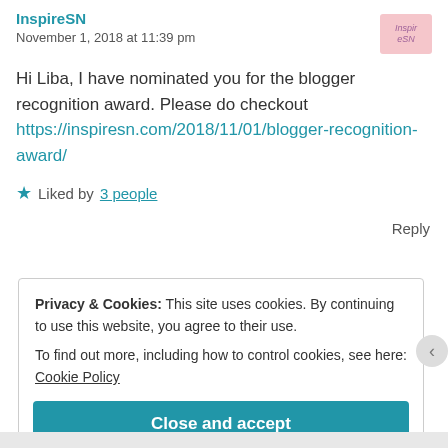InspireSN
November 1, 2018 at 11:39 pm
Hi Liba, I have nominated you for the blogger recognition award. Please do checkout https://inspiresn.com/2018/11/01/blogger-recognition-award/
★ Liked by 3 people
Reply
Privacy & Cookies: This site uses cookies. By continuing to use this website, you agree to their use.
To find out more, including how to control cookies, see here: Cookie Policy
Close and accept